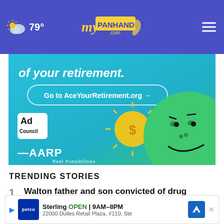79° myPanhandle.com
[Figure (photo): Ad banner for AceYourRetirement.org featuring Ad Council and AARP branding with a green cartoon character and a golden coin sun. Text reads 'of your retirement.' with a button 'Go to AceYourRetirement.org →'. Logos: Ad Council, AARP Real Possibilities.]
TRENDING STORIES
1  Walton father and son convicted of drug trafficking
2  M... rand t...
[Figure (screenshot): Bottom overlay ad for Petco store in Sterling. Shows Petco logo, play icon, store name 'Sterling', status 'OPEN | 9AM–8PM', address '22000 Dulles Retail Plaza, #110, Ste', and a blue map navigation icon. Also has a close X button.]